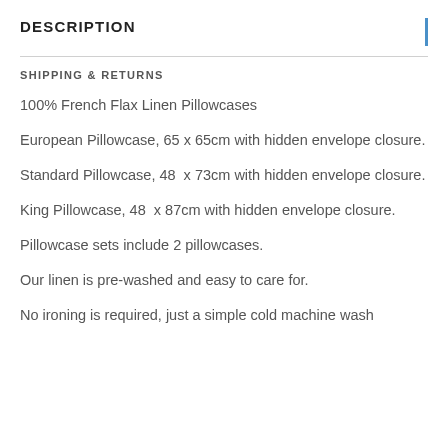DESCRIPTION
SHIPPING & RETURNS
100% French Flax Linen Pillowcases
European Pillowcase, 65 x 65cm with hidden envelope closure.
Standard Pillowcase, 48  x 73cm with hidden envelope closure.
King Pillowcase, 48  x 87cm with hidden envelope closure.
Pillowcase sets include 2 pillowcases.
Our linen is pre-washed and easy to care for.
No ironing is required, just a simple cold machine wash…